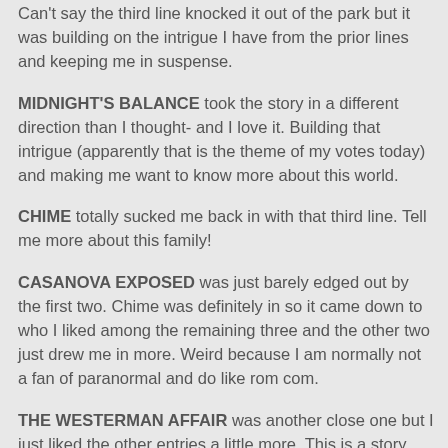Can't say the third line knocked it out of the park but it was building on the intrigue I have from the prior lines and keeping me in suspense.
MIDNIGHT'S BALANCE took the story in a different direction than I thought- and I love it. Building that intrigue (apparently that is the theme of my votes today) and making me want to know more about this world.
CHIME totally sucked me back in with that third line. Tell me more about this family!
CASANOVA EXPOSED was just barely edged out by the first two. Chime was definitely in so it came down to who I liked among the remaining three and the other two just drew me in more. Weird because I am normally not a fan of paranormal and do like rom com.
THE WESTERMAN AFFAIR was another close one but I just liked the other entries a little more. This is a story that is improving with every line.